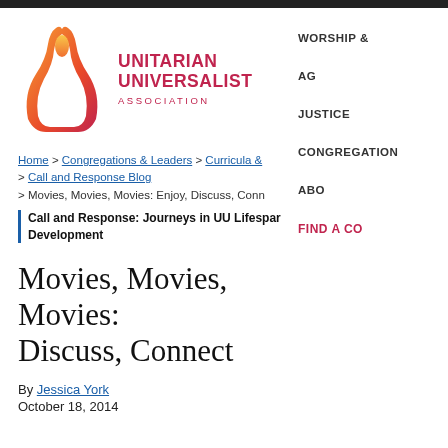[Figure (logo): Unitarian Universalist Association logo with flame icon and text]
Home > Congregations & Leaders > Curricula & > Call and Response Blog > Movies, Movies, Movies: Enjoy, Discuss, Conn
Call and Response: Journeys in UU Lifespan Development
Movies, Movies, Movies: Discuss, Connect
By Jessica York
October 18, 2014
WORSHIP &
AG
JUSTICE
CONGREGATION
ABO
FIND A CO